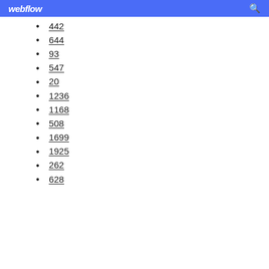webflow
442
644
93
547
20
1236
1168
508
1699
1925
262
628